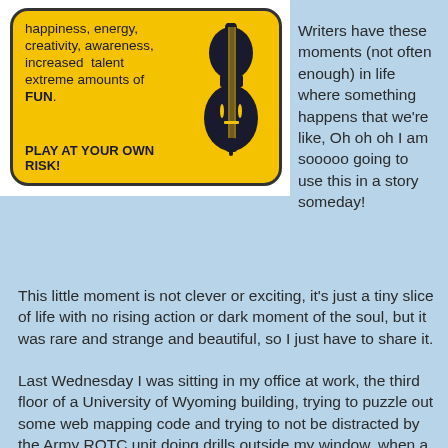[Figure (illustration): Yellow warning sign with rounded corners showing a cello/violin silhouette and text: 'happiness, energy, creativity, awareness, increased talent extreme amounts of FUN.' and bold text 'PLAY AT YOUR OWN RISK!' on a white background.]
Writers have these moments (not often enough) in life where something happens that we're like, Oh oh oh I am sooooo going to use this in a story someday!
This little moment is not clever or exciting, it's just a tiny slice of life with no rising action or dark moment of the soul, but it was rare and strange and beautiful, so I just have to share it.
Last Wednesday I was sitting in my office at work, the third floor of a University of Wyoming building, trying to puzzle out some web mapping code and trying to not be distracted by the Army ROTC unit doing drills outside my window, when a hauntingly lovely sound came floating up from some part of the building.